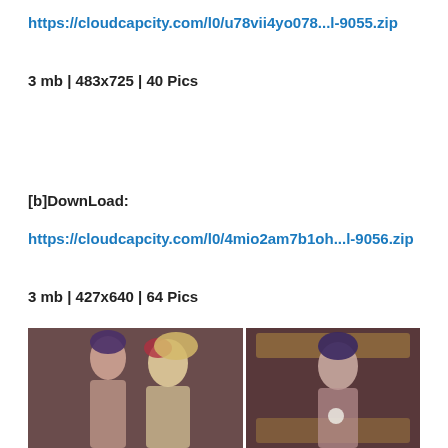https://cloudcapcity.com/l0/u78vii4yo078...l-9055.zip
3 mb | 483x725 | 40 Pics
[b]DownLoad:
https://cloudcapcity.com/l0/4mio2am7b1oh...l-9056.zip
3 mb | 427x640 | 64 Pics
[Figure (photo): Two-panel photo strip showing people in indoor setting]